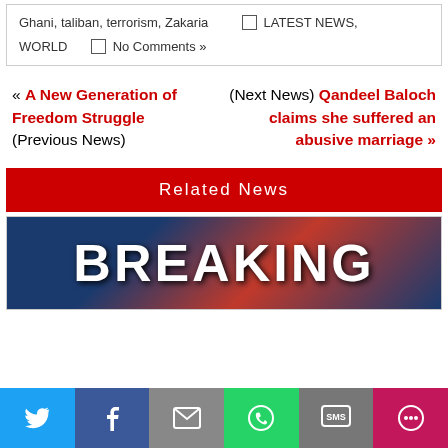Ghani, taliban, terrorism, Zakaria   □ LATEST NEWS, WORLD   □ No Comments »
« A New Generation of Freedom Struggle (Previous News)
(Next News) Qandeel Baloch claims she suffered an abusive marriage »
Related News
[Figure (photo): Breaking news banner image with large white BREAKING text on dark blue and red background]
Twitter | Facebook | Email | WhatsApp | SMS | More